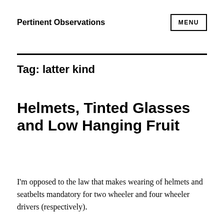Pertinent Observations
Tag: latter kind
Helmets, Tinted Glasses and Low Hanging Fruit
I'm opposed to the law that makes wearing of helmets and seatbelts mandatory for two wheeler and four wheeler drivers (respectively).